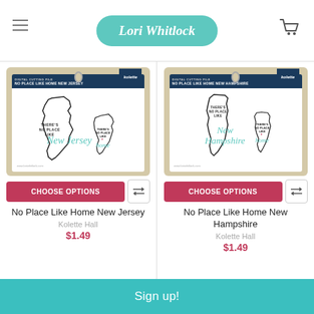Lori Whitlock
[Figure (screenshot): Product image: No Place Like Home New Jersey digital cutting file package by Kolette Hall Studio]
[Figure (screenshot): Product image: No Place Like Home New Hampshire digital cutting file package by Kolette Hall Studio]
CHOOSE OPTIONS
CHOOSE OPTIONS
No Place Like Home New Jersey
Kolette Hall
$1.49
No Place Like Home New Hampshire
Kolette Hall
$1.49
Sign up!